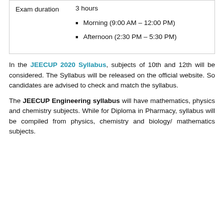| Exam duration | 3 hours |
|  | Morning (9:00 AM – 12:00 PM)
Afternoon (2:30 PM – 5:30 PM) |
In the JEECUP 2020 Syllabus, subjects of 10th and 12th will be considered. The Syllabus will be released on the official website. So candidates are advised to check and match the syllabus.
The JEECUP Engineering syllabus will have mathematics, physics and chemistry subjects. While for Diploma in Pharmacy, syllabus will be compiled from physics, chemistry and biology/ mathematics subjects.